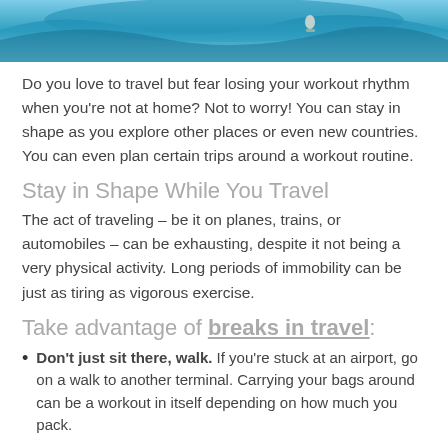[Figure (photo): A surfer riding a large wave, aerial view with blue water]
Do you love to travel but fear losing your workout rhythm when you're not at home? Not to worry! You can stay in shape as you explore other places or even new countries. You can even plan certain trips around a workout routine.
Stay in Shape While You Travel
The act of traveling – be it on planes, trains, or automobiles – can be exhausting, despite it not being a very physical activity. Long periods of immobility can be just as tiring as vigorous exercise.
Take advantage of breaks in travel:
Don't just sit there, walk. If you're stuck at an airport, go on a walk to another terminal. Carrying your bags around can be a workout in itself depending on how much you pack.
Try to stretch out. After a long trip or hours of waiting, your muscles can get very tight. Bend over and touch your toes, stretch your back, sit on the ground and...